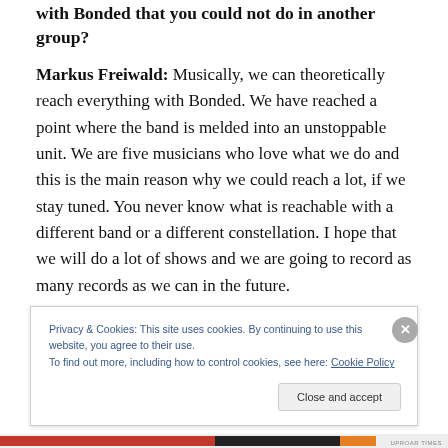with Bonded that you could not do in another group?
Markus Freiwald: Musically, we can theoretically reach everything with Bonded. We have reached a point where the band is melded into an unstoppable unit. We are five musicians who love what we do and this is the main reason why we could reach a lot, if we stay tuned. You never know what is reachable with a different band or a different constellation. I hope that we will do a lot of shows and we are going to record as many records as we can in the future.
Privacy & Cookies: This site uses cookies. By continuing to use this website, you agree to their use.
To find out more, including how to control cookies, see here: Cookie Policy